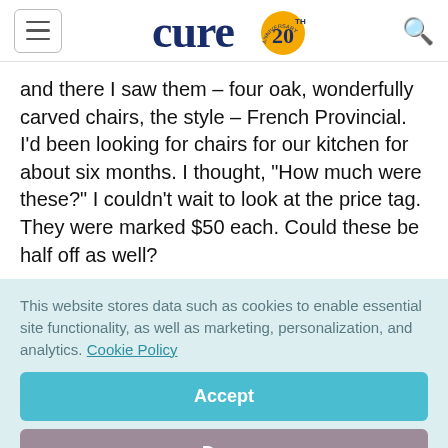cure20 [logo]
and there I saw them – four oak, wonderfully carved chairs, the style – French Provincial. I'd been looking for chairs for our kitchen for about six months. I thought, "How much were these?" I couldn't wait to look at the price tag. They were marked $50 each. Could these be half off as well?
This website stores data such as cookies to enable essential site functionality, as well as marketing, personalization, and analytics. Cookie Policy
Accept
Deny